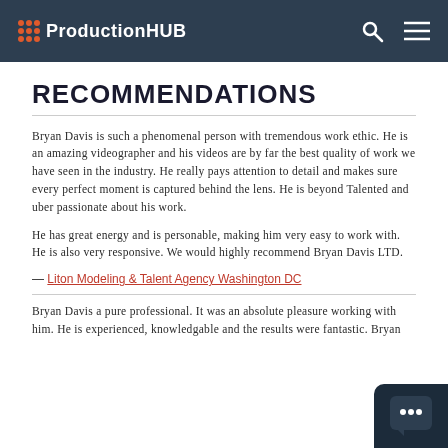ProductionHUB
RECOMMENDATIONS
Bryan Davis is such a phenomenal person with tremendous work ethic. He is an amazing videographer and his videos are by far the best quality of work we have seen in the industry. He really pays attention to detail and makes sure every perfect moment is captured behind the lens. He is beyond Talented and uber passionate about his work.
He has great energy and is personable, making him very easy to work with. He is also very responsive. We would highly recommend Bryan Davis LTD.
— Liton Modeling & Talent Agency Washington DC
Bryan Davis a pure professional. It was an absolute pleasure working with him. He is experienced, knowledgable and the results were fantastic. Bryan